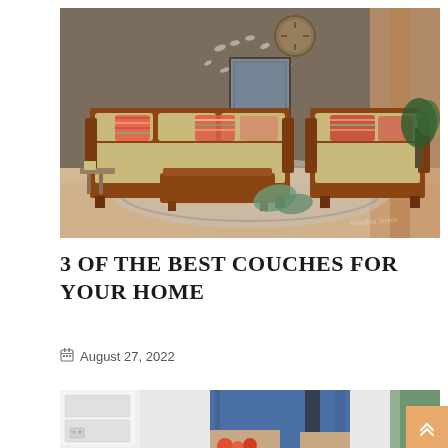[Figure (photo): Living room scene with wooden sofa set, colorful cushions, decorative wall birds, a round clock, framed artwork, and curtains on a light wooden floor.]
3 OF THE BEST COUCHES FOR YOUR HOME
August 27, 2022
[Figure (photo): Partial view of a person in a blue shirt standing in a kitchen, partially cropped.]